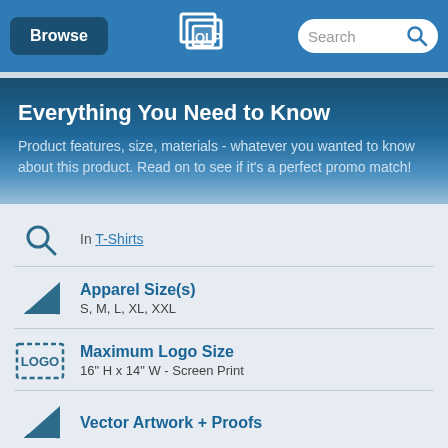Browse | [logo] | Search
Everything You Need to Know
Product features, size, materials - whatever you wanted to know about this product. Read on to see if it's a perfect promo match!
In T-Shirts
Apparel Size(s)
S, M, L, XL, XXL
Maximum Logo Size
16" H x 14" W - Screen Print
Vector Artwork + Proofs